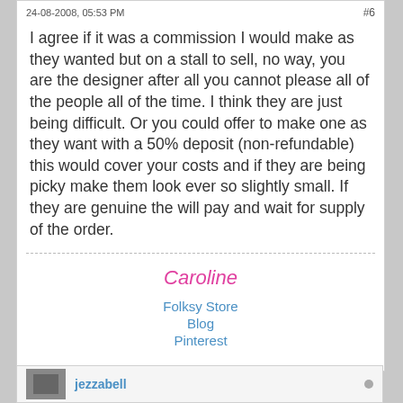24-08-2008, 05:53 PM   #6
I agree if it was a commission I would make as they wanted but on a stall to sell, no way, you are the designer after all you cannot please all of the people all of the time. I think they are just being difficult. Or you could offer to make one as they want with a 50% deposit (non-refundable) this would cover your costs and if they are being picky make them look ever so slightly small. If they are genuine the will pay and wait for supply of the order.
Caroline
Folksy Store
Blog
Pinterest
jezzabell